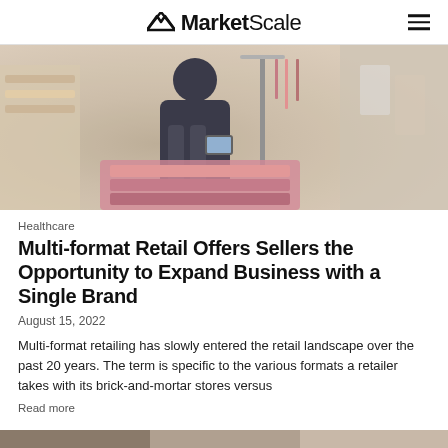MarketScale
[Figure (photo): Person browsing or arranging retail merchandise — clothing and goods on shelves in a store]
Healthcare
Multi-format Retail Offers Sellers the Opportunity to Expand Business with a Single Brand
August 15, 2022
Multi-format retailing has slowly entered the retail landscape over the past 20 years. The term is specific to the various formats a retailer takes with its brick-and-mortar stores versus
Read more